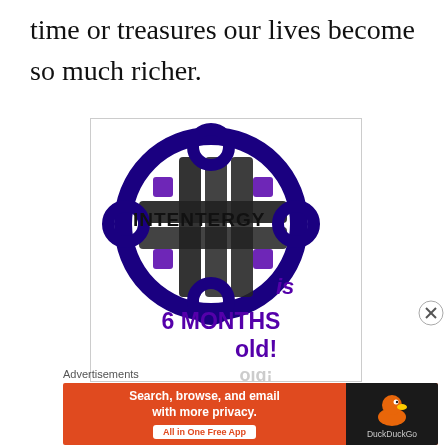time or treasures our lives become so much richer.
[Figure (logo): Intentergy logo — a Celtic knot design in dark blue and purple with the word INTENTERGY across the center, below reads 'is 6 MONTHS old!' in bold purple text, with a mirrored reflection of 'old!' below]
Advertisements
[Figure (other): DuckDuckGo advertisement banner: orange background with white bold text 'Search, browse, and email with more privacy.' and a white button 'All in One Free App', with DuckDuckGo duck logo on dark right panel]